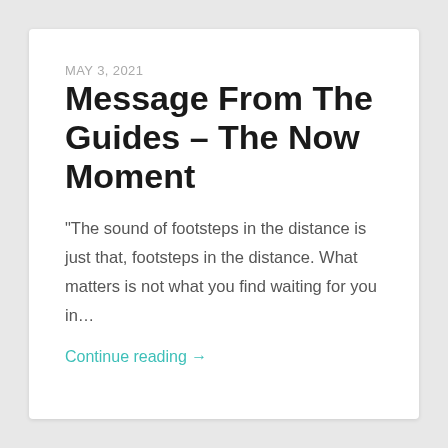MAY 3, 2021
Message From The Guides – The Now Moment
“The sound of footsteps in the distance is just that, footsteps in the distance. What matters is not what you find waiting for you in…
Continue reading →